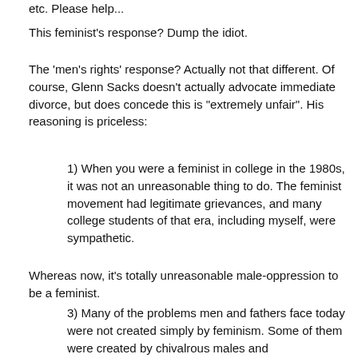etc. Please help...
This feminist's response? Dump the idiot.
The 'men's rights' response? Actually not that different. Of course, Glenn Sacks doesn't actually advocate immediate divorce, but does concede this is "extremely unfair". His reasoning is priceless:
1) When you were a feminist in college in the 1980s, it was not an unreasonable thing to do. The feminist movement had legitimate grievances, and many college students of that era, including myself, were sympathetic.
Whereas now, it's totally unreasonable male-oppression to be a feminist.
3) Many of the problems men and fathers face today were not created simply by feminism. Some of them were created by chivalrous males and conservatives. Some of them were created by